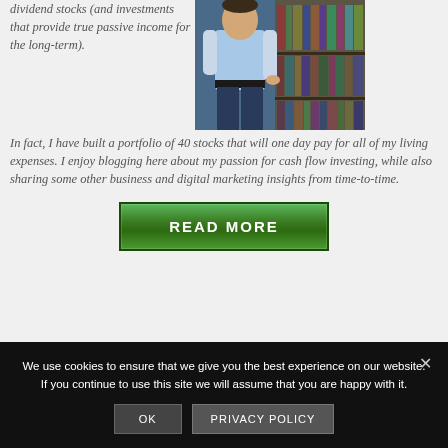dividend stocks (and investments that provide true passive income for the long-term). In fact, I have built a portfolio of 40 stocks that will one day pay for all of my living expenses. I enjoy blogging here about my passion for cash flow investing, while also sharing some other business and digital marketing insights from time-to-time.
[Figure (photo): Photo of a man standing in front of a bookshelf, wearing a light blue shirt and dark jeans]
[Figure (other): Green READ MORE button with grid texture pattern]
We use cookies to ensure that we give you the best experience on our website. If you continue to use this site we will assume that you are happy with it.